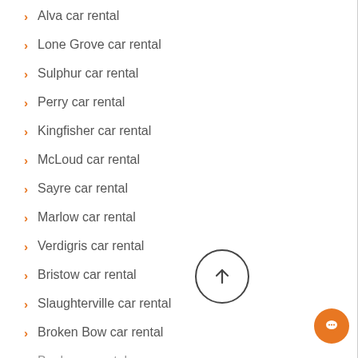Alva car rental
Lone Grove car rental
Sulphur car rental
Perry car rental
Kingfisher car rental
McLoud car rental
Sayre car rental
Marlow car rental
Verdigris car rental
Bristow car rental
Slaughterville car rental
Broken Bow car rental
Beale car rental